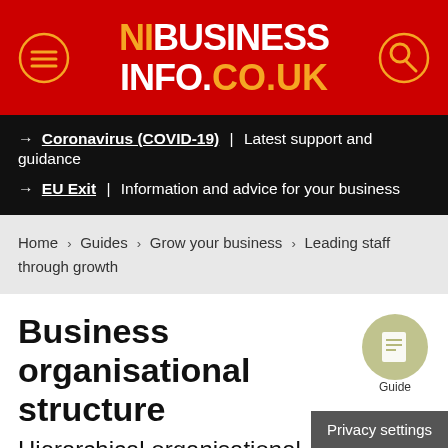[Figure (logo): NIBusinessInfo.co.uk logo on red background with menu and search icons]
→ Coronavirus (COVID-19) | Latest support and guidance
→ EU Exit | Information and advice for your business
Home > Guides > Grow your business > Leading staff through growth
Business organisational structure
[Figure (illustration): Green circular guide icon with book/document symbol]
Hierarchical organisational structure
Organisational structures define a hierarchy within an organisation. The two most common arranger...
Privacy settings